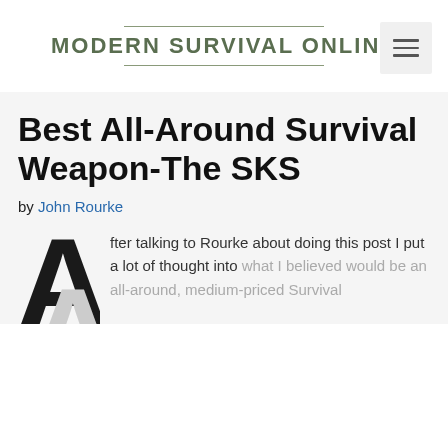MODERN SURVIVAL ONLINE
Best All-Around Survival Weapon-The SKS
by John Rourke
After talking to Rourke about doing this post I put a lot of thought into what I believed would be an all-around, medium-priced Survival